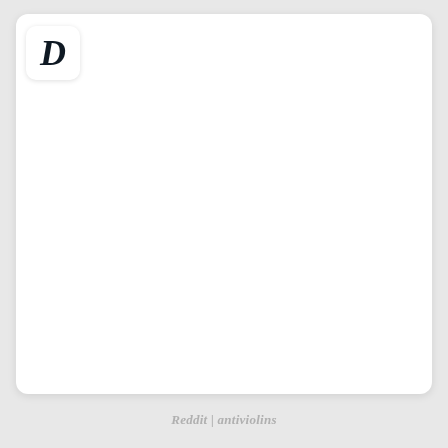[Figure (logo): White card with rounded corners containing a logo box in the top-left corner. The logo box is a white rounded square with a large italic bold letter D in dark navy color, resembling the Digg or similar app logo.]
Reddit | antiviolins